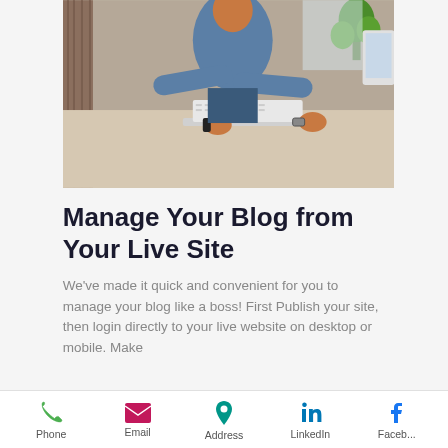[Figure (photo): Man in denim shirt leaning over a desk working on a laptop, with a plant and monitor visible in the background. Office/workspace setting.]
Manage Your Blog from Your Live Site
We've made it quick and convenient for you to manage your blog like a boss! First Publish your site, then login directly to your live website on desktop or mobile. Make
Phone   Email   Address   LinkedIn   Faceb...